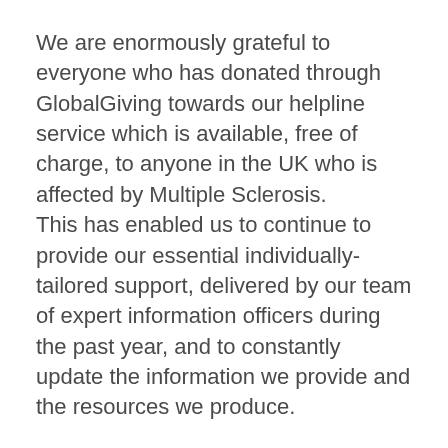We are enormously grateful to everyone who has donated through GlobalGiving towards our helpline service which is available, free of charge, to anyone in the UK who is affected by Multiple Sclerosis.
This has enabled us to continue to provide our essential individually-tailored support, delivered by our team of expert information officers during the past year, and to constantly update the information we provide and the resources we produce.